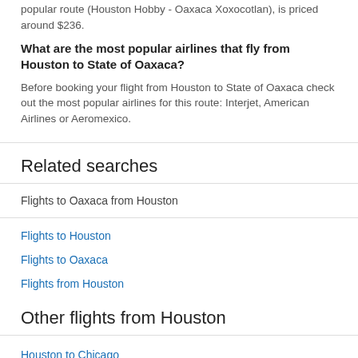popular route (Houston Hobby - Oaxaca Xoxocotlan), is priced around $236.
What are the most popular airlines that fly from Houston to State of Oaxaca?
Before booking your flight from Houston to State of Oaxaca check out the most popular airlines for this route: Interjet, American Airlines or Aeromexico.
Related searches
Flights to Oaxaca from Houston
Flights to Houston
Flights to Oaxaca
Flights from Houston
Other flights from Houston
Houston to Chicago
Houston to Detroit